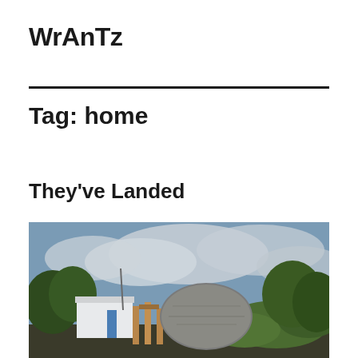WrAnTz
Tag: home
They've Landed
[Figure (photo): Outdoor scene showing a dome-shaped structure under construction with trees in background and cloudy sky, viewed from ground level]